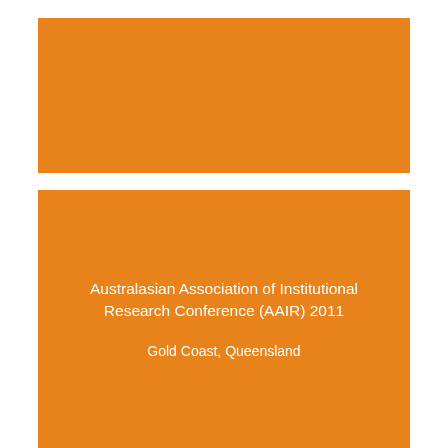[Figure (other): Orange decorative banner block at top of page]
Australasian Association of Institutional Research Conference (AAIR) 2011
Gold Coast, Queensland
[Figure (other): Orange decorative banner block at bottom of page]